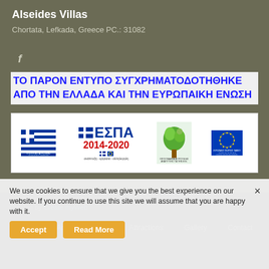Alseides Villas
Chortata, Lefkada, Greece PC.: 31082
f
ΤΟ ΠΑΡΟΝ ΕΝΤΥΠΟ ΣΥΓΧΡΗΜΑΤΟΔΟΤΗΘΗΚΕ ΑΠΟ ΤΗΝ ΕΛΛΑΔΑ ΚΑΙ ΤΗΝ ΕΥΡΩΠΑΙΚΗ ΕΝΩΣΗ
[Figure (logo): ΕΣΠΑ 2014-2020 co-funded banner with Greek flag, ΕΣΠΑ logo, tree/EU emblem, and European Agricultural Fund logo]
We use cookies to ensure that we give you the best experience on our website. If you continue to use this site we will assume that you are happy with it.
© 2015 Alseides Villas. All Rights Reserved
Created by Create myWeb
Home   Accommodation   Attractions   Gallery   Contact